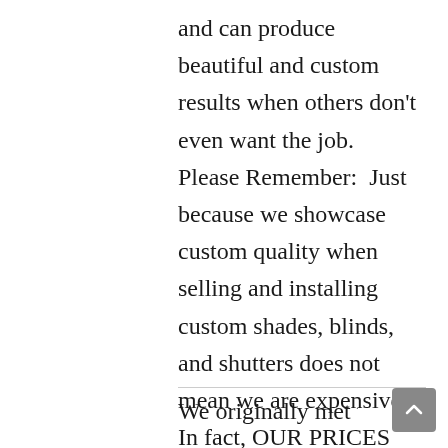and can produce beautiful and custom results when others don't even want the job.    Please Remember:  Just because we showcase custom quality when selling and installing custom shades, blinds, and shutters does not mean we are expensive.  In fact, OUR PRICES ARE AMONG THE LOWEST AND MOST DISCOUNTED IN THE NEW JERSEY and NEW YORK area for blinds and shutters.
We originally met with Kristen L...